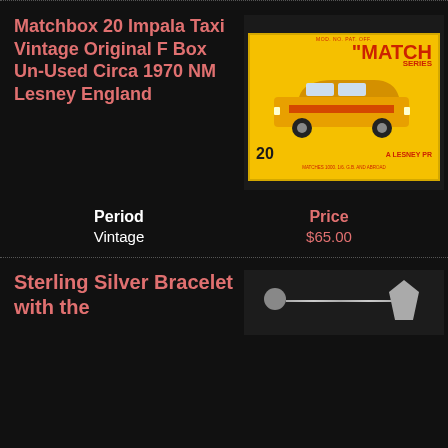Matchbox 20 Impala Taxi Vintage Original F Box Un-Used Circa 1970 NM Lesney England
[Figure (photo): Photo of a Matchbox No. 20 Impala Taxi toy car in its original yellow box, labeled 'MATCH SERIES' and '20 A LESNEY PR', shown against a dark background.]
| Period | Price |
| --- | --- |
| Vintage | $65.00 |
Sterling Silver Bracelet with the